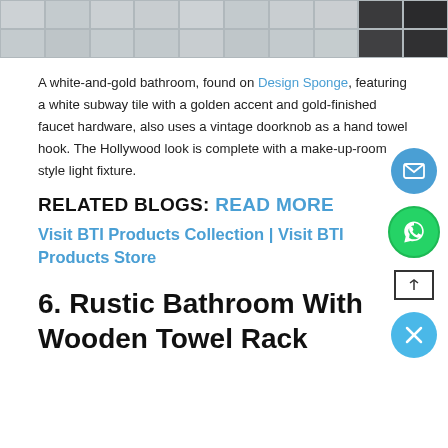[Figure (photo): Partial view of a bathroom with grey/white subway tiles, dark fixtures visible at top right corner]
A white-and-gold bathroom, found on Design Sponge, featuring a white subway tile with a golden accent and gold-finished faucet hardware, also uses a vintage doorknob as a hand towel hook. The Hollywood look is complete with a make-up-room style light fixture.
RELATED BLOGS: READ MORE
Visit BTI Products Collection | Visit BTI Products Store
6. Rustic Bathroom With Wooden Towel Rack